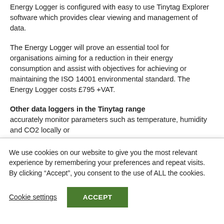Energy Logger is configured with easy to use Tinytag Explorer software which provides clear viewing and management of data.
The Energy Logger will prove an essential tool for organisations aiming for a reduction in their energy consumption and assist with objectives for achieving or maintaining the ISO 14001 environmental standard. The Energy Logger costs £795 +VAT.
Other data loggers in the Tinytag range accurately monitor parameters such as temperature, humidity and CO2 locally or
We use cookies on our website to give you the most relevant experience by remembering your preferences and repeat visits. By clicking “Accept”, you consent to the use of ALL the cookies.
Cookie settings
ACCEPT